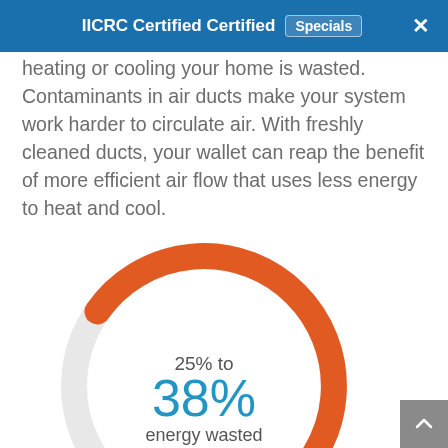IICRC Certified Certified   Specials   ×
heating or cooling your home is wasted. Contaminants in air ducts make your system work harder to circulate air. With freshly cleaned ducts, your wallet can reap the benefit of more efficient air flow that uses less energy to heat and cool.
[Figure (donut-chart): Partial donut/gauge chart showing 25% to 38% energy wasted, rendered with a thick orange arc on a light gray circle background. Center text shows '25% to' above '38%' in large blue text, and 'energy wasted' below.]